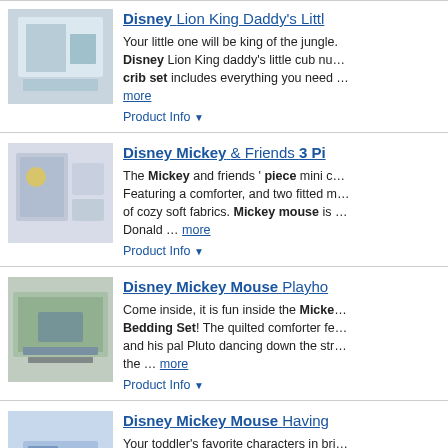[Figure (photo): Disney Lion King Daddy's Little crib bedding product photo]
Disney Lion King Daddy's Littl…
Your little one will be king of the jungle. Disney Lion King daddy's little cub nu… crib set includes everything you need … more
Product Info ▼
[Figure (photo): Disney Mickey & Friends 3 Piece mini crib set product photo]
Disney Mickey & Friends 3 Pi…
The Mickey and friends ' piece mini c… Featuring a comforter, and two fitted m… of cozy soft fabrics. Mickey mouse is … Donald … more
Product Info ▼
[Figure (photo): Disney Mickey Mouse Playhouse bedding set product photo]
Disney Mickey Mouse Playho…
Come inside, it is fun inside the Micke… Bedding Set! The quilted comforter fe… and his pal Pluto dancing down the str… the … more
Product Info ▼
[Figure (photo): Disney Mickey Mouse Having Fun toddler bedding set product photo]
Disney Mickey Mouse Having…
Your toddler's favorite characters in bri… bedtime a delight! This bedding set in… Mickey Mouse, Donald Duck, and Go… more
Product Info ▼